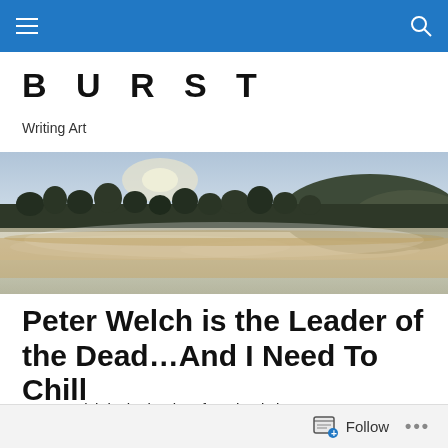BURST — Writing Art (navigation bar)
BURST
Writing Art
[Figure (photo): Landscape photo of a misty lake with tall grasses and a tree line with hills in the background under an overcast sky]
Peter Welch is the Leader of the Dead…And I Need To Chill
Peter Welch is the leader of …what is it, I can't even name
Follow